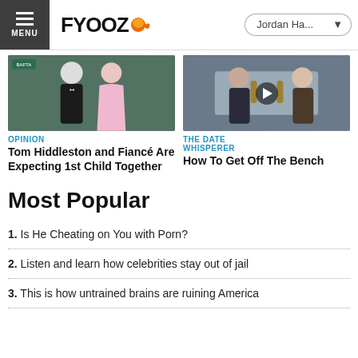FYOOZ — Jordan Ha...
[Figure (photo): Two people at a BAFTA-style event: a man in a tuxedo and a woman in a pink gown posing together on a green carpet.]
OPINION
Tom Hiddleston and Fiancé Are Expecting 1st Child Together
[Figure (photo): Two people clinking beer bottles, with a video play button overlay on the image.]
THE DATE WHISPERER
How To Get Off The Bench
Most Popular
1. Is He Cheating on You with Porn?
2. Listen and learn how celebrities stay out of jail
3. This is how untrained brains are ruining America